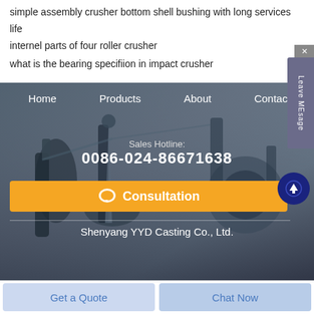simple assembly crusher bottom shell bushing with long services life
internel parts of four roller crusher
what is the bearing specifiion in impact crusher
[Figure (screenshot): Industrial machinery website banner with navigation (Home, Products, About, Contact), sales hotline 0086-024-86671638, orange Consultation button, and company name Shenyang YYD Casting Co., Ltd. Dark blue-grey blurred machinery background.]
Sales Hotline:
0086-024-86671638
Consultation
Shenyang YYD Casting Co., Ltd.
Get a Quote
Chat Now